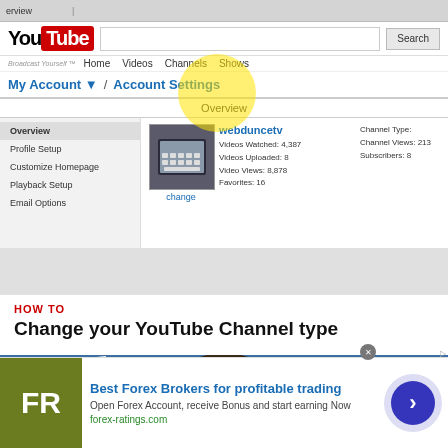[Figure (screenshot): YouTube Account Settings Overview page screenshot showing My Account navigation, webduncetv profile with stats (Videos Watched: 4,387, Videos Uploaded: 8, Video Views: 8,878, Favorites: 16, Channel Type, Channel Views: 213, Subscribers: 8), sidebar menu with Overview, Profile Setup, Customize Homepage, Playback Setup, Email Options. A yellow highlight circle is over Account Settings link.]
HOW TO
Change your YouTube Channel type
[Figure (photo): Man with glasses and short dark hair against a blue background with white geometric diamond/hexagon shapes on sides.]
[Figure (other): Advertisement banner: FR logo (green background), Best Forex Brokers for profitable trading, Open Forex Account, receive Bonus and start earning Now, forex-ratings.com, with blue arrow circle button.]